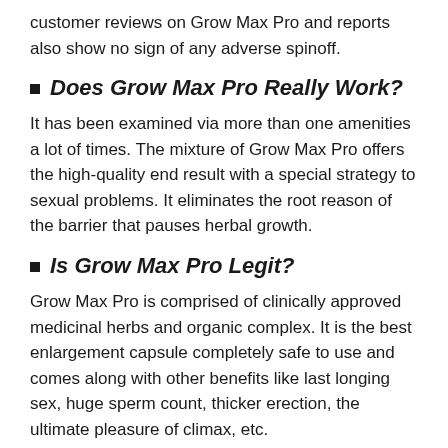customer reviews on Grow Max Pro and reports also show no sign of any adverse spinoff.
Does Grow Max Pro Really Work?
It has been examined via more than one amenities a lot of times. The mixture of Grow Max Pro offers the high-quality end result with a special strategy to sexual problems. It eliminates the root reason of the barrier that pauses herbal growth.
Is Grow Max Pro Legit?
Grow Max Pro is comprised of clinically approved medicinal herbs and organic complex. It is the best enlargement capsule completely safe to use and comes along with other benefits like last longing sex, huge sperm count, thicker erection, the ultimate pleasure of climax, etc.
Scientific References & Sources: